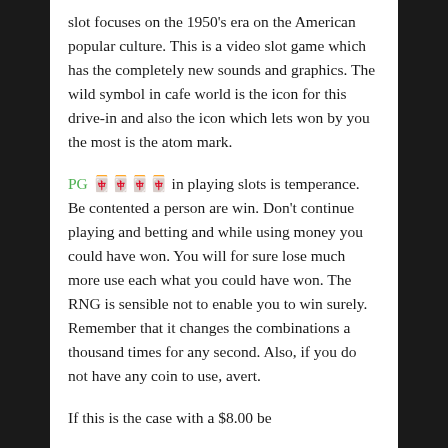slot focuses on the 1950's era on the American popular culture. This is a video slot game which has the completely new sounds and graphics. The wild symbol in cafe world is the icon for this drive-in and also the icon which lets won by you the most is the atom mark.
PG สล็อต in playing slots is temperance. Be contented a person are win. Don't continue playing and betting and while using money you could have won. You will for sure lose much more use each what you could have won. The RNG is sensible not to enable you to win surely. Remember that it changes the combinations a thousand times for any second. Also, if you do not have any coin to use, avert.
If this is the case with a $8.00 be...